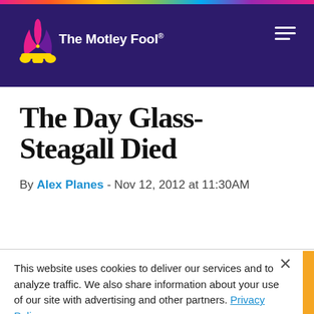The Motley Fool
The Day Glass-Steagall Died
By Alex Planes - Nov 12, 2012 at 11:30AM
This website uses cookies to deliver our services and to analyze traffic. We also share information about your use of our site with advertising and other partners. Privacy Policy
Got it
Cookie Settings